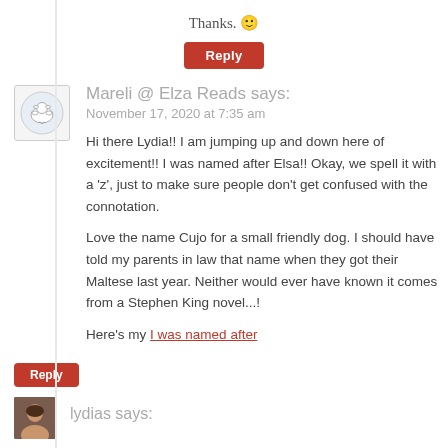Thanks. 🙂
Reply
Mareli @ Elza Reads says:
November 17, 2020 at 7:35 am
Hi there Lydia!! I am jumping up and down here of excitement!! I was named after Elsa!! Okay, we spell it with a 'z', just to make sure people don't get confused with the connotation.
Love the name Cujo for a small friendly dog. I should have told my parents in law that name when they got their Maltese last year. Neither would ever have known it comes from a Stephen King novel...!
Here's my I was named after
Reply
lydias says: